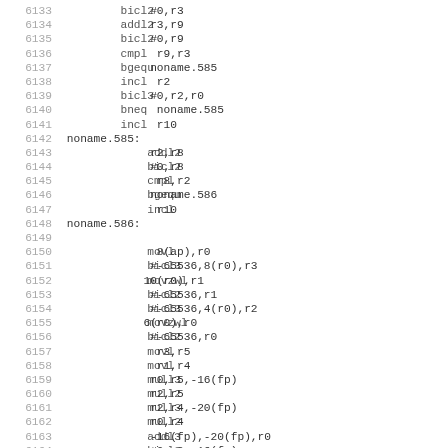Assembly code listing lines 6133-6164
6133   bicl2   #0,r3
6134   addl2   r3,r9
6135   bicl2   #0,r9
6136   cmpl    r9,r3
6137   bgequ   noname.585
6138   incl    r2
6139   bicl3   #0,r2,r0
6140   bneq    noname.585
6141   incl    r10
6142 noname.585:
6143   addl2   r2,r8
6144   bicl2   #0,r8
6145   cmpl    r8,r2
6146   bgequ   noname.586
6147   incl    r10
6148 noname.586:
6149
6150   movl    8(ap),r0
6151   bicl3   #-65536,8(r0),r3
6152   movzwl  10(r0),r1
6153   bicl2   #-65536,r1
6154   bicl3   #-65536,4(r0),r2
6155   movzwl  6(r0),r0
6156   bicl2   #-65536,r0
6157   movl    r3,r5
6158   movl    r1,r4
6159   mull3   r0,r5,-16(fp)
6160   mull2   r2,r5
6161   mull3   r2,r4,-20(fp)
6162   mull2   r0,r4
6163   addl3   -16(fp),-20(fp),r0
6164   bicl3   #0,r0,-16(fp)